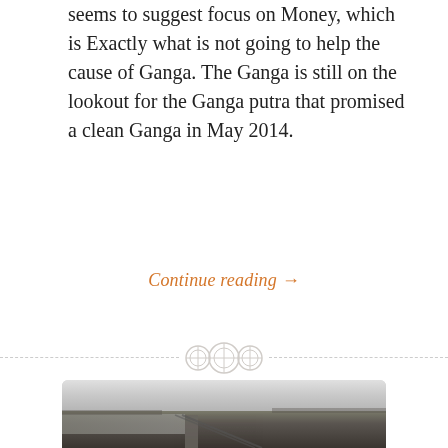seems to suggest focus on Money, which is Exactly what is not going to help the cause of Ganga. The Ganga is still on the lookout for the Ganga putra that promised a clean Ganga in May 2014.
Continue reading →
[Figure (photo): A grayscale/desaturated photograph of a river landscape with flat land, water body on the left, a railway or road bridge running diagonally, and overcast sky. Appears to be the Ganga river.]